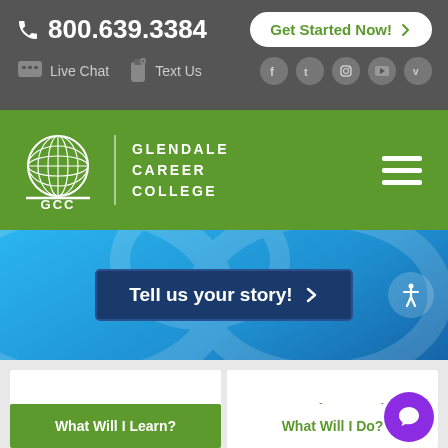📞 800.639.3384 | Get Started Now!
Live Chat | Text Us | Social icons: Facebook, Twitter, Instagram, YouTube, Vimeo
[Figure (logo): GCC Glendale Career College globe logo with text GLENDALE CAREER COLLEGE]
[Figure (infographic): Blue banner with Tell us your story! button and accessibility icon]
General Overview
Careers After I Graduate
What Will I Learn?
What Will I Do?